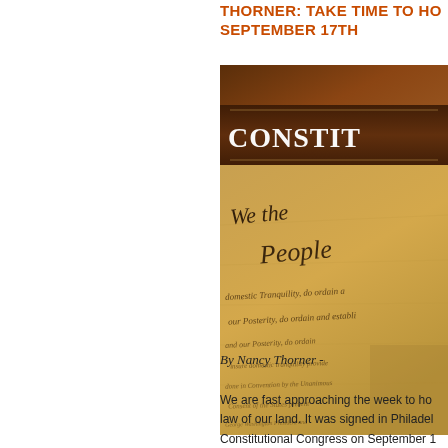THORNER: TAKE TIME TO HONOR THE CONSTITUTION ON SEPTEMBER 17TH
[Figure (photo): A close-up photo of the U.S. Constitution parchment document with the words 'We the People' visible in cursive script, overlaid with the word 'CONSTITUTION' in bold white serif letters on a banner across the top portion of the image. The background shows a leather-bound book or surface in warm brown tones.]
By Nancy Thorner -
We are fast approaching the week to honor the supreme law of our land. It was signed in Philadelphia by the Constitutional Congress on September 17, 1787, and when ratified by the nine States, and a...